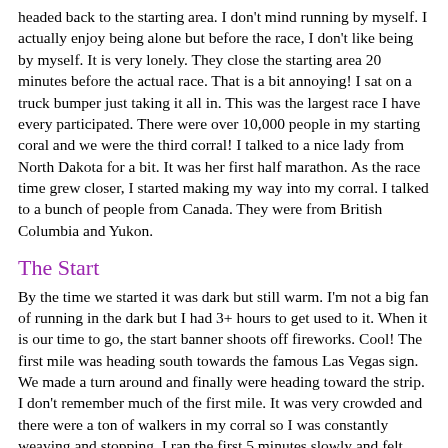headed back to the starting area. I don't mind running by myself. I actually enjoy being alone but before the race, I don't like being by myself. It is very lonely. They close the starting area 20 minutes before the actual race. That is a bit annoying! I sat on a truck bumper just taking it all in. This was the largest race I have every participated. There were over 10,000 people in my starting coral and we were the third corral! I talked to a nice lady from North Dakota for a bit. It was her first half marathon. As the race time grew closer, I started making my way into my corral. I talked to a bunch of people from Canada. They were from British Columbia and Yukon.
The Start
By the time we started it was dark but still warm. I'm not a big fan of running in the dark but I had 3+ hours to get used to it. When it is our time to go, the start banner shoots off fireworks. Cool! The first mile was heading south towards the famous Las Vegas sign. We made a turn around and finally were heading toward the strip. I don't remember much of the first mile. It was very crowded and there were a ton of walkers in my corral so I was constantly weaving and stopping. I ran the first 5 minutes slowly and felt good. I had various run/walk strategies that I contemplated. But I eventually settled on 1 minute run, 30 seconds walk for my